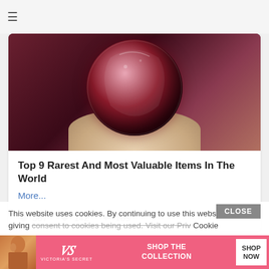[Figure (screenshot): MAC cosmetics advertisement banner with lipsticks, MAC logo, and SHOP NOW button with TC+ badge]
[Figure (photo): Hand holding a dark red/burgundy crystal or gem object against gray background]
Top 9 Rarest And Most Valuable Items In The World
More...
567  142  189
This website uses cookies. By continuing to use this website you are giving consent to cookies being used. Visit our Priv Cookie
[Figure (screenshot): Victoria's Secret advertisement banner with model, VS logo, SHOP THE COLLECTION text and SHOP NOW button]